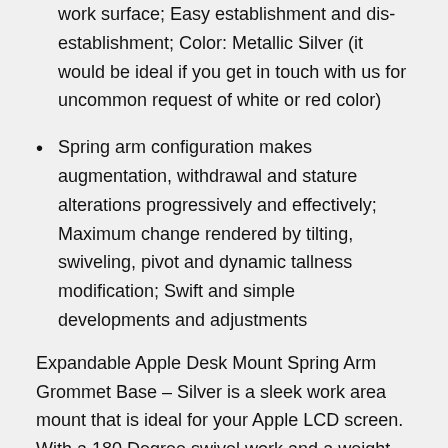work surface; Easy establishment and dis-establishment; Color: Metallic Silver (it would be ideal if you get in touch with us for uncommon request of white or red color)
Spring arm configuration makes augmentation, withdrawal and stature alterations progressively and effectively; Maximum change rendered by tilting, swiveling, pivot and dynamic tallness modification; Swift and simple developments and adjustments
Expandable Apple Desk Mount Spring Arm Grommet Base – Silver is a sleek work area mount that is ideal for your Apple LCD screen. With a 180 Degree swivel work and a weight limit of 30.8lbs (14kg), this work area mount is perfect for workplaces, classrooms, private homes and open zones. It's the ideal frill for the